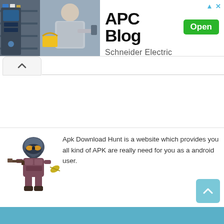[Figure (screenshot): Advertisement banner for APC Blog by Schneider Electric. Shows a photo of a person in a store on the left, with 'APC Blog' title, green 'Open' button, and 'Schneider Electric' subtitle on the right.]
[Figure (other): Collapse/minimize button with upward chevron arrow]
About APK Download Hunt
[Figure (illustration): Game character mascot illustration - armored warrior/soldier character holding a weapon]
Apk Download Hunt is a website which provides you all kind of APK are really need for you as a android user.